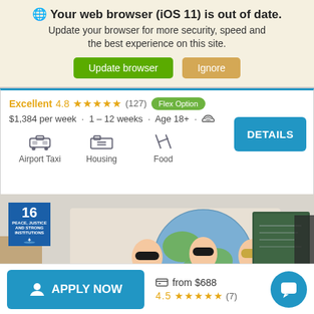🌐 Your web browser (iOS 11) is out of date. Update your browser for more security, speed and the best experience on this site. [Update browser] [Ignore]
Excellent 4.8 ★★★★★ (127) Flex Option
$1,384 per week · 1 – 12 weeks · Age 18+ · WiFi
Airport Taxi  Housing  Food  DETAILS
[Figure (photo): Classroom photo showing students seated, with a colorful mural of cartoon children holding a globe on the wall, an SDG 16 (Peace, Justice and Strong Institutions) badge on the wall, and a chalkboard on the right.]
APPLY NOW   from $688   4.5 ★★★★★ (7)